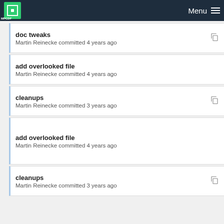MPCDF Menu
doc tweaks
Martin Reinecke committed 4 years ago
add overlooked file
Martin Reinecke committed 4 years ago
cleanups
Martin Reinecke committed 3 years ago
add overlooked file
Martin Reinecke committed 4 years ago
cleanups
Martin Reinecke committed 3 years ago